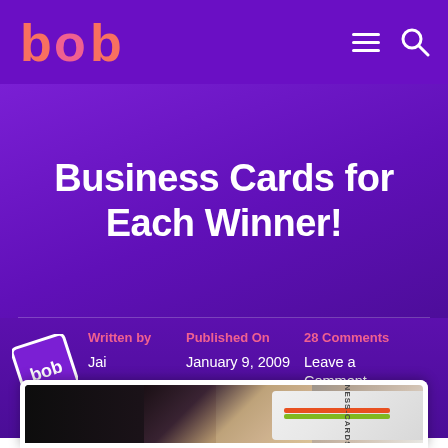bob
Business Cards for Each Winner!
Written by Jai
Published On January 9, 2009
28 Comments Leave a Comment
[Figure (photo): Woman holding a business card partially covering her face against dark background, with colorful business card visible in foreground]